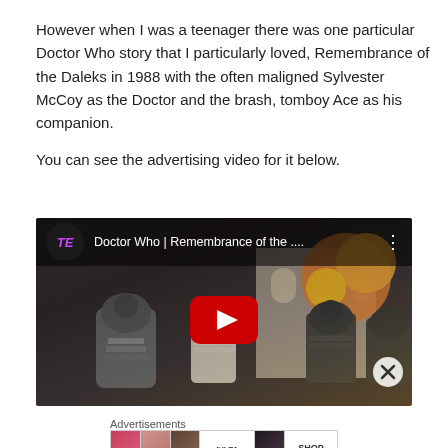However when I was a teenager there was one particular Doctor Who story that I particularly loved, Remembrance of the Daleks in 1988 with the often maligned Sylvester McCoy as the Doctor and the brash, tomboy Ace as his companion.
You can see the advertising video for it below.
[Figure (screenshot): YouTube video embed thumbnail showing Doctor Who | Remembrance of the... with Daleks scene and red play button overlay]
Advertisements
[Figure (photo): Ulta Beauty advertisement banner with makeup imagery and SHOP NOW button]